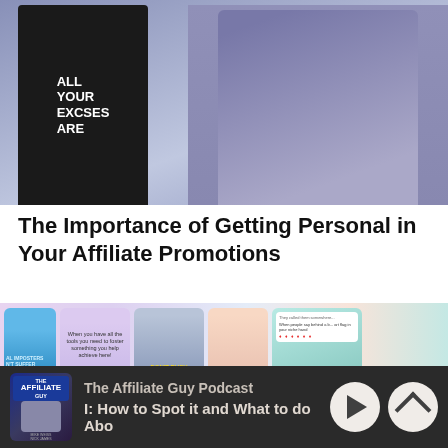[Figure (photo): Two people: a man on the left wearing a black t-shirt with text 'ALL YOUR EXCSES ARE' standing with arms crossed, and a woman on the right at a desk in a blue-tinted professional photo]
The Importance of Getting Personal in Your Affiliate Promotions
[Figure (screenshot): Row of social media / template cards in a pastel-colored layout: card with sky/clouds, purple card with woman and text 'When you have all the tools you need to foster something you help achieve here!', mountain/nature card with text 'DON'T RUSH YOUR JOURNEY', pink card with woman, teal card with review widget]
The Affiliate Guy Podcast | I: How to Spot it and What to do Abo